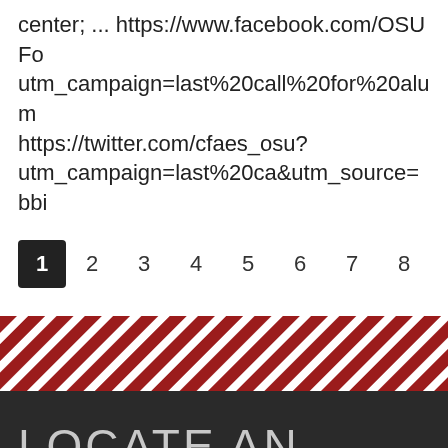center; ... https://www.facebook.com/OSUFo utm_campaign=last%20call%20for%20alum https://twitter.com/cfaes_osu? utm_campaign=last%20ca&utm_source=bbi
1 2 3 4 5 6 7 8 9 …
[Figure (other): Red and white diagonal stripe decorative band]
LOCATE AN OFFICE
We connect with people in all stages of life, from young children to older adults. We work with